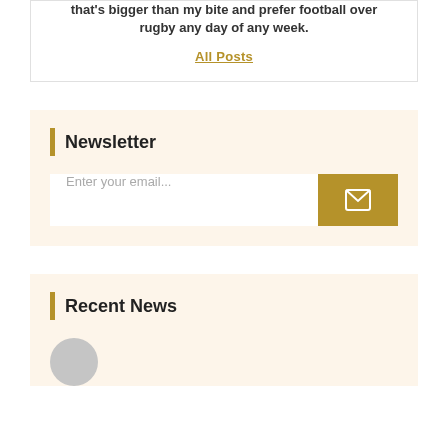that's bigger than my bite and prefer football over rugby any day of any week.
All Posts
Newsletter
Enter your email...
Recent News